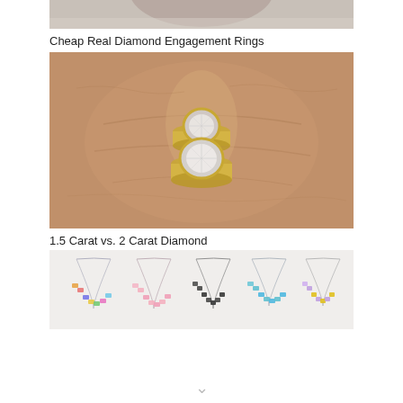[Figure (photo): Partial/cropped top of a photo showing a jewelry or ring item on a surface]
Cheap Real Diamond Engagement Rings
[Figure (photo): Close-up photo of a hand wearing two gold bezel-set diamond rings stacked on a finger]
1.5 Carat vs. 2 Carat Diamond
[Figure (photo): Five colorful gemstone necklaces laid out side by side: multicolor, pink, dark/black, blue-green, and yellow-purple varieties]